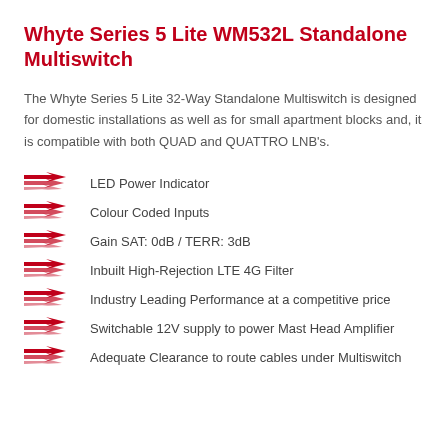Whyte Series 5 Lite WM532L Standalone Multiswitch
The Whyte Series 5 Lite 32-Way Standalone Multiswitch is designed for domestic installations as well as for small apartment blocks and, it is compatible with both QUAD and QUATTRO LNB's.
LED Power Indicator
Colour Coded Inputs
Gain SAT: 0dB / TERR: 3dB
Inbuilt High-Rejection LTE 4G Filter
Industry Leading Performance at a competitive price
Switchable 12V supply to power Mast Head Amplifier
Adequate Clearance to route cables under Multiswitch